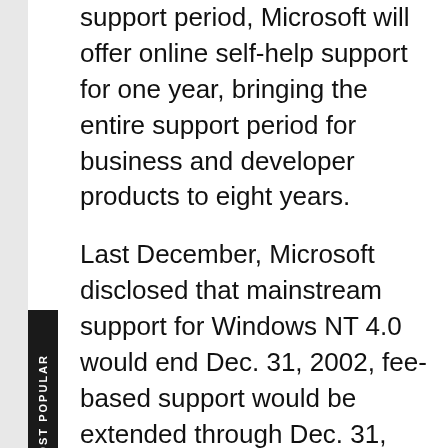support period, Microsoft will offer online self-help support for one year, bringing the entire support period for business and developer products to eight years.
Last December, Microsoft disclosed that mainstream support for Windows NT 4.0 would end Dec. 31, 2002, fee-based support would be extended through Dec. 31, 2003, and security and online support would extend to Dec. 31, 2004.
According to the software support schedule posted on Tuesday, Microsoft is largely carrying forward the Windows NT 4.0 support commitments it made a year ago, even though they are slightly more generous than Microsoft's new policy. Mainstream support for Windows NT 4.0 will still last through Dec. 31, 2002, which is six